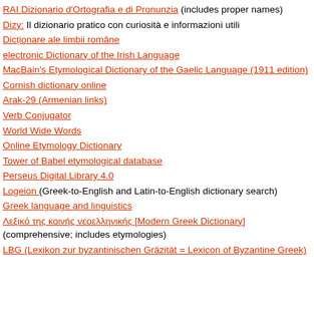RAI Dizionario d'Ortografia e di Pronunzia (includes proper names)
Dizy: Il dizionario pratico con curiosità e informazioni utili
Dicționare ale limbii române
electronic Dictionary of the Irish Language
MacBain's Etymological Dictionary of the Gaelic Language (1911 edition)
Cornish dictionary online
Arak-29 (Armenian links)
Verb Conjugator
World Wide Words
Online Etymology Dictionary
Tower of Babel etymological database
Perseus Digital Library 4.0
Logeion (Greek-to-English and Latin-to-English dictionary search)
Greek language and linguistics
Λεξικό της κοινής νεοελληνικής [Modern Greek Dictionary] (comprehensive; includes etymologies)
LBG (Lexikon zur byzantinischen Gräzität = Lexicon of Byzantine Greek)